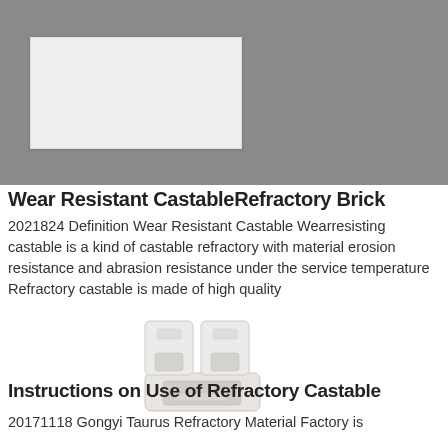[Figure (photo): Photo of a white rectangular castable refractory brick on a dark gray background]
Wear Resistant CastableRefractory Brick
2021824 Definition Wear Resistant Castable Wearresisting castable is a kind of castable refractory with material erosion resistance and abrasion resistance under the service temperature Refractory castable is made of high quality
[Figure (photo): Photo of white ceramic refractory castable mold pieces, angular shaped container forms]
Instructions on Use of Refractory Castable
20171118 Gongyi Taurus Refractory Material Factory is